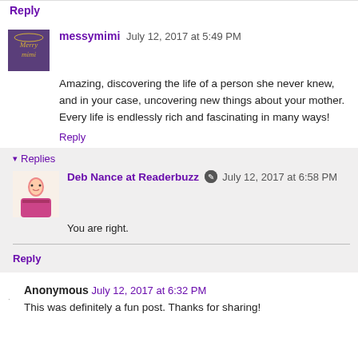Reply
messymimi  July 12, 2017 at 5:49 PM
Amazing, discovering the life of a person she never knew, and in your case, uncovering new things about your mother. Every life is endlessly rich and fascinating in many ways!
Reply
▾ Replies
Deb Nance at Readerbuzz  July 12, 2017 at 6:58 PM
You are right.
Reply
Anonymous  July 12, 2017 at 6:32 PM
This was definitely a fun post. Thanks for sharing!